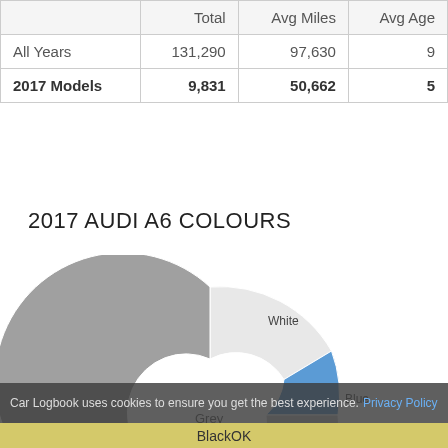|  | Total | Avg Miles | Avg Age |
| --- | --- | --- | --- |
| All Years | 131,290 | 97,630 | 9 |
| 2017 Models | 9,831 | 50,662 | 5 |
2017 AUDI A6 COLOURS
[Figure (donut-chart): 2017 AUDI A6 COLOURS]
Car Logbook uses cookies to ensure you get the best experience. Privacy Policy
BlackOK